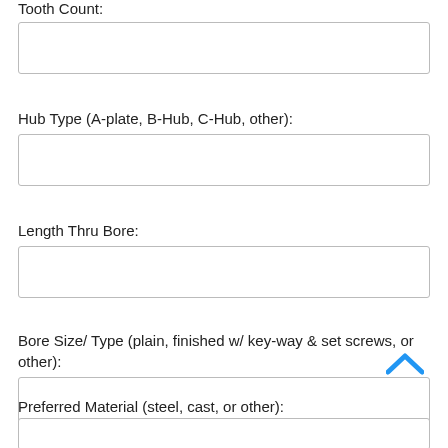Tooth Count:
Hub Type (A-plate, B-Hub, C-Hub, other):
Length Thru Bore:
Bore Size/ Type (plain, finished w/ key-way & set screws, or other):
Preferred Material (steel, cast, or other):